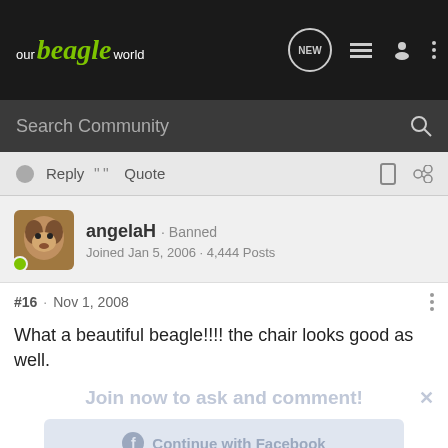our beagle world
Search Community
Reply  Quote
angelaH · Banned
Joined Jan 5, 2006 · 4,444 Posts
#16 · Nov 1, 2008
What a beautiful beagle!!!! the chair looks good as well.
Join now to ask and comment!
Continue with Facebook
Doghouse
Susi and Snoopy are ex research beagles.
Continue with Google